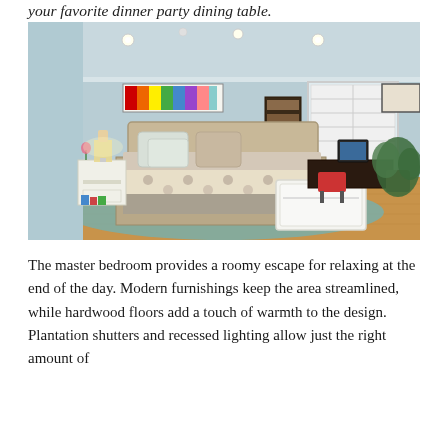your favorite dinner party dining table.
[Figure (photo): A spacious master bedroom with light blue-gray walls, hardwood floors, a king-size bed with patterned bedding and decorative pillows, white nightstands, a white storage bench at the foot of the bed, a teal area rug, recessed ceiling lights, plantation shutters on the window, a bookshelf, a desk with a computer and red chair, and a large potted plant in the corner.]
The master bedroom provides a roomy escape for relaxing at the end of the day. Modern furnishings keep the area streamlined, while hardwood floors add a touch of warmth to the design. Plantation shutters and recessed lighting allow just the right amount of